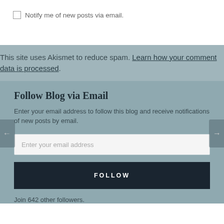Notify me of new posts via email.
This site uses Akismet to reduce spam. Learn how your comment data is processed.
Follow Blog via Email
Enter your email address to follow this blog and receive notifications of new posts by email.
Enter your email address
FOLLOW
Join 642 other followers.